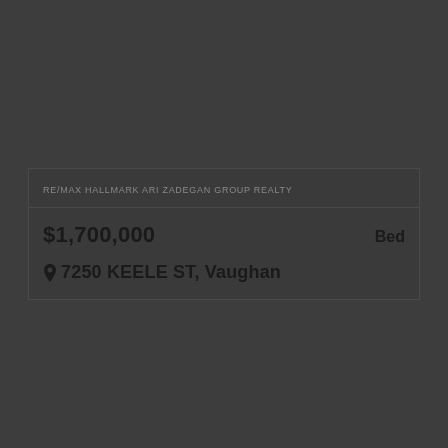RE/MAX HALLMARK ARI ZADEGAN GROUP REALTY
$1,700,000
Bed
7250 KEELE ST, Vaughan